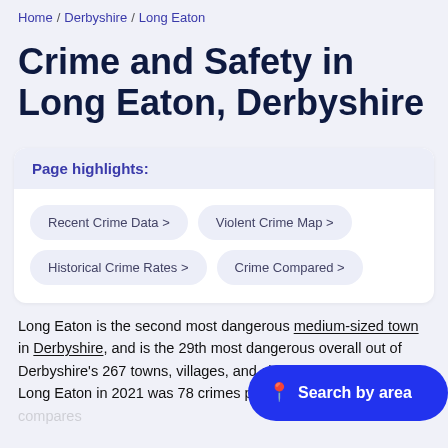Home / Derbyshire / Long Eaton
Crime and Safety in Long Eaton, Derbyshire
Page highlights:
Recent Crime Data >
Violent Crime Map >
Historical Crime Rates >
Crime Compared >
Long Eaton is the second most dangerous medium-sized town in Derbyshire, and is the 29th most dangerous overall out of Derbyshire's 267 towns, villages, and cities. The crime rate in Long Eaton in 2021 was 78 crimes per 1,000 people. This compares